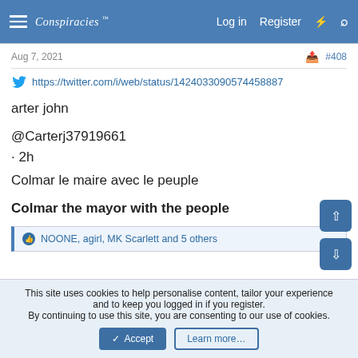Conspiracies forum navigation bar with Log in, Register links
Aug 7, 2021  #408
https://twitter.com/i/web/status/1424033090574458887
arter john

@Carterj37919661
· 2h
Colmar le maire avec le peuple

Colmar the mayor with the people
NOONE, agirl, MK Scarlett and 5 others
This site uses cookies to help personalise content, tailor your experience and to keep you logged in if you register.
By continuing to use this site, you are consenting to our use of cookies.